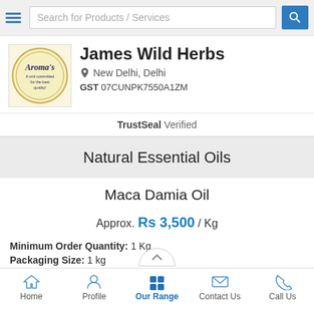Search for Products / Services
[Figure (logo): James Wild Herbs circular logo with Aroma's branding on cream/yellow background]
James Wild Herbs
New Delhi, Delhi
GST 07CUNPK7550A1ZM
TrustSeal Verified
Natural Essential Oils
Maca Damia Oil
Approx. Rs 3,500 / Kg
Minimum Order Quantity: 1 Kg
Packaging Size: 1 kg
Home | Profile | Our Range | Contact Us | Call Us